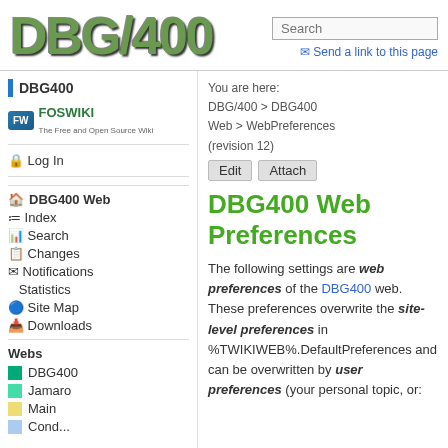DBG/400
DBG400 Web Preferences
You are here: DBG/400 > DBG400 Web > WebPreferences (revision 12)
The following settings are web preferences of the DBG400 web. These preferences overwrite the site-level preferences in %TWIKIWEB%.DefaultPreferences and can be overwritten by user preferences (your personal topic, or: